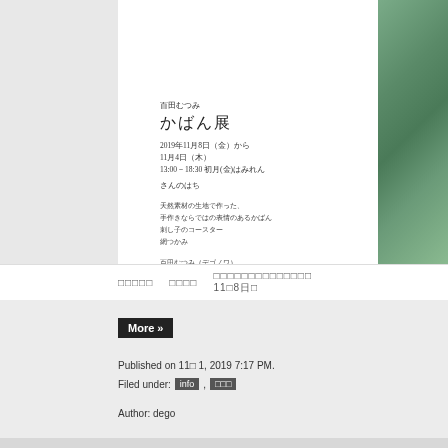[Figure (photo): Green fabric bag photograph on light background, top-right corner]
百田むつみ
かばん展
2019年11月8日（金）から
11月4日（木）
13:00－18:30 初月(金)はみれん
さんのはち
天然素材の生地で作った、
手作きならではの表情のあるかばん
刺し子のコースター
網つかみ
百田むつみ（デゴノワ）
http://www.dego.jp
□□□□□　　□□□□　　□□□□□□□□□□□□□□ 11□8日□
More »
Published on 11□ 1, 2019 7:17 PM.
Filed under: info , □□□
Author: dego